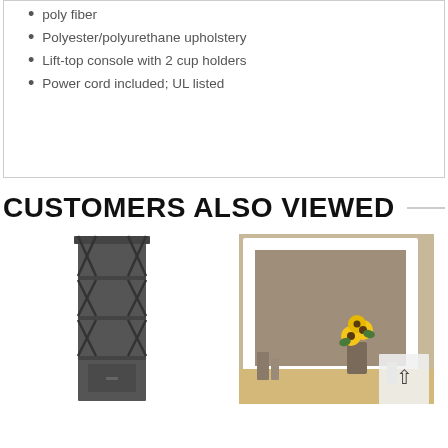poly fiber
Polyester/polyurethane upholstery
Lift-top console with 2 cup holders
Power cord included; UL listed
CUSTOMERS ALSO VIEWED
[Figure (photo): Dark gray bookcase/media tower with X-pattern decorative sides and multiple shelves]
[Figure (photo): White-framed dresser mirror with sunflowers and decorative items reflected, shown above a dresser]